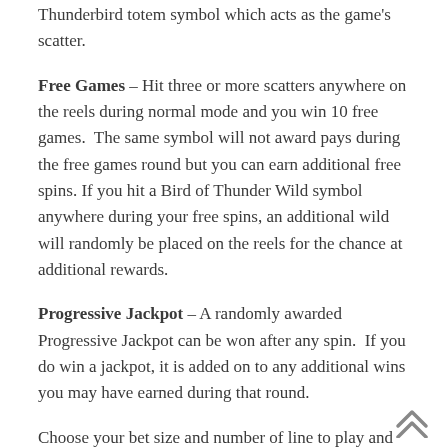Thunderbird totem symbol which acts as the game's scatter.
Free Games – Hit three or more scatters anywhere on the reels during normal mode and you win 10 free games.  The same symbol will not award pays during the free games round but you can earn additional free spins. If you hit a Bird of Thunder Wild symbol anywhere during your free spins, an additional wild will randomly be placed on the reels for the chance at additional rewards.
Progressive Jackpot – A randomly awarded Progressive Jackpot can be won after any spin.  If you do win a jackpot, it is added on to any additional wins you may have earned during that round.
Choose your bet size and number of line to play and then Spin to Win!
Rate this game